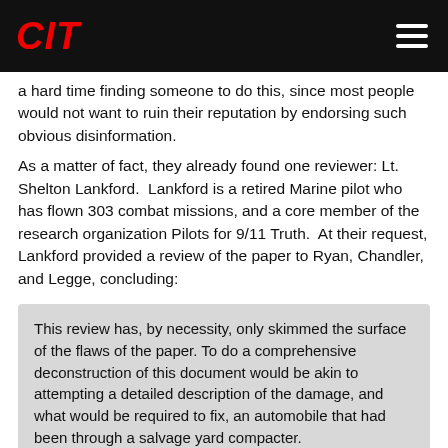CIT
a hard time finding someone to do this, since most people would not want to ruin their reputation by endorsing such obvious disinformation.
As a matter of fact, they already found one reviewer: Lt. Shelton Lankford.  Lankford is a retired Marine pilot who has flown 303 combat missions, and a core member of the research organization Pilots for 9/11 Truth.  At their request, Lankford provided a review of the paper to Ryan, Chandler, and Legge, concluding:
This review has, by necessity, only skimmed the surface of the flaws of the paper. To do a comprehensive deconstruction of this document would be akin to attempting a detailed description of the damage, and what would be required to fix, an automobile that had been through a salvage yard compacter.

There is nothing wrong with this paper that a trip through a shredder, and a sincere apology to CIT and the 9/11 Truth community could not cure.
Not only does Legge and Chandler's paper claim to